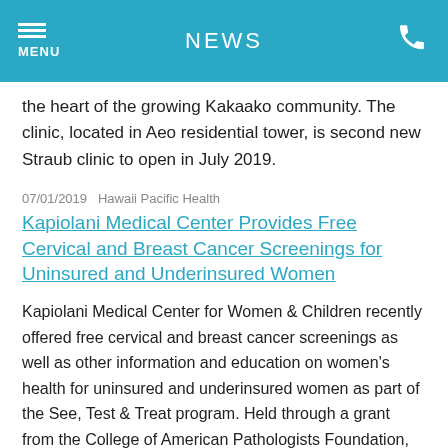NEWS
the heart of the growing Kakaako community. The clinic, located in Aeo residential tower, is second new Straub clinic to open in July 2019.
07/01/2019   Hawaii Pacific Health
Kapiolani Medical Center Provides Free Cervical and Breast Cancer Screenings for Uninsured and Underinsured Women
Kapiolani Medical Center for Women & Children recently offered free cervical and breast cancer screenings as well as other information and education on women's health for uninsured and underinsured women as part of the See, Test & Treat program. Held through a grant from the College of American Pathologists Foundation, the free cancer screening and health education program is designed to remove barriers to early cancer detection in underserved populations and to empower women